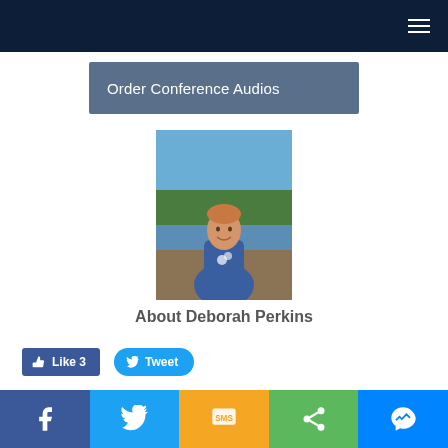Navigation bar with hamburger menu
Order Conference Audios
[Figure (photo): Portrait photo of Deborah Perkins outdoors near water with trees in background, wearing a blue top]
About Deborah Perkins
Like 3  Tweet
[Figure (infographic): Bottom social sharing bar with Facebook, Twitter, SMS, Share, and Messenger icons]